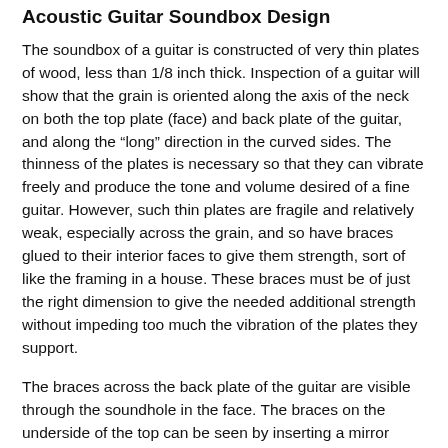Acoustic Guitar Soundbox Design
The soundbox of a guitar is constructed of very thin plates of wood, less than 1/8 inch thick. Inspection of a guitar will show that the grain is oriented along the axis of the neck on both the top plate (face) and back plate of the guitar, and along the “long” direction in the curved sides. The thinness of the plates is necessary so that they can vibrate freely and produce the tone and volume desired of a fine guitar. However, such thin plates are fragile and relatively weak, especially across the grain, and so have braces glued to their interior faces to give them strength, sort of like the framing in a house. These braces must be of just the right dimension to give the needed additional strength without impeding too much the vibration of the plates they support.
The braces across the back plate of the guitar are visible through the soundhole in the face. The braces on the underside of the top can be seen by inserting a mirror through the soundhole. The back braces almost always run from side to